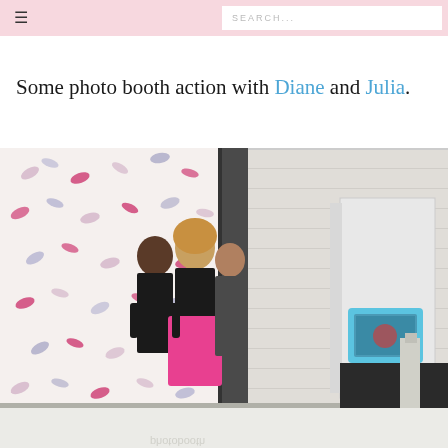☰  SEARCH...
Some photo booth action with Diane and Julia.
[Figure (photo): Three women posing in front of a floral-patterned photo booth backdrop. One woman wearing a bright pink skirt. To the right is a white photo booth kiosk with a blue touchscreen panel. The setting appears to be an event space with white brick walls.]